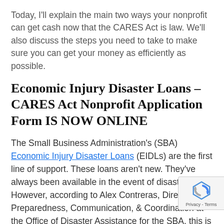Today, I'll explain the main two ways your nonprofit can get cash now that the CARES Act is law. We'll also discuss the steps you need to take to make sure you can get your money as efficiently as possible.
Economic Injury Disaster Loans – CARES Act Nonprofit Application Form IS NOW ONLINE
The Small Business Administration's (SBA) Economic Injury Disaster Loans (EIDLs) are the first line of support. These loans aren't new. They've always been available in the event of disaster.  However, according to Alex Contreras, Director of Preparedness, Communication, & Coordination at the Office of Disaster Assistance for the SBA, this is the first time a virus or pandemic event has been defined as a disaster. Because of declaration, businesses in every state and territory